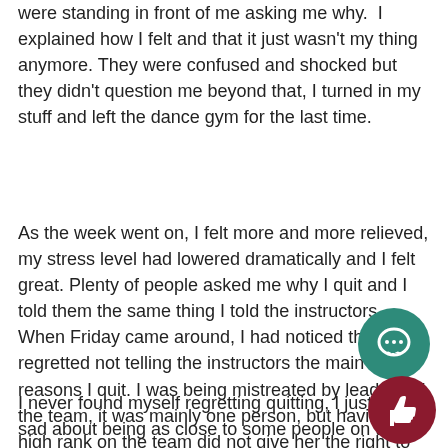were standing in front of me asking me why.  I explained how I felt and that it just wasn't my thing anymore. They were confused and shocked but they didn't question me beyond that, I turned in my stuff and left the dance gym for the last time.
As the week went on, I felt more and more relieved, my stress level had lowered dramatically and I felt great. Plenty of people asked me why I quit and I told them the same thing I told the instructors. When Friday came around, I had noticed that I regretted not telling the instructors the main reasons I quit. I was being mistreated by leaders of the team, it was mainly one person, but having a high rank on the team did not give her the right to treat people the way she did. It also did not give her the right to be hypocritical about drill team rules, it was completely unfair that she could bend the rules but get us in trouble for not following them. Though I hadn't told them about her, my mom did. She didn't give examples of wh did, but told them that she was one of the main reasons I quit
I never found myself regretting quitting, I just was sad about being as close to some people on the team that I used to be s